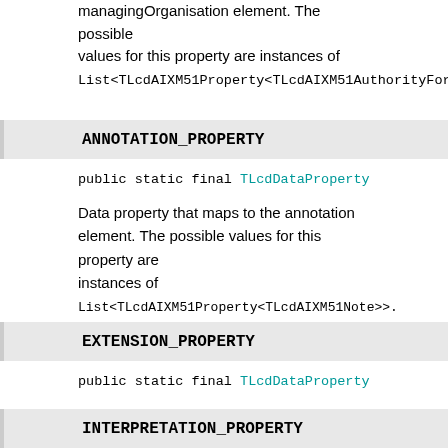managingOrganisation element. The possible values for this property are instances of List<TLcdAIXM51Property<TLcdAIXM51AuthorityForAer
ANNOTATION_PROPERTY
public static final TLcdDataProperty ANNOTATION_P
Data property that maps to the annotation element. The possible values for this property are instances of List<TLcdAIXM51Property<TLcdAIXM51Note>>.
EXTENSION_PROPERTY
public static final TLcdDataProperty EXTENSION_PR
Data property that maps to the extension element. The possible values for this property are instances of List<TLcdAIXM51Link<TLcdAIXM51AbstractExtension>>
INTERPRETATION_PROPERTY